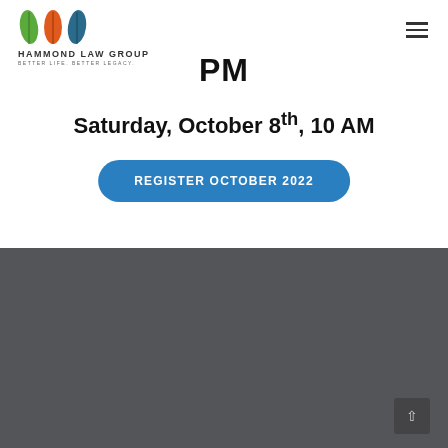[Figure (logo): Hammond Law Group logo with three colorful leaf icons (green, orange/red, teal) above the text HAMMOND LAW GROUP / BETTER LIFE. BETTER LEGACY.]
PM
Saturday, October 8th, 10 AM
REGISTER OCTOBER 2022
COLORADO SPRINGS
Kissing Camels Office Park
2955 Professional Place,
Ste 300